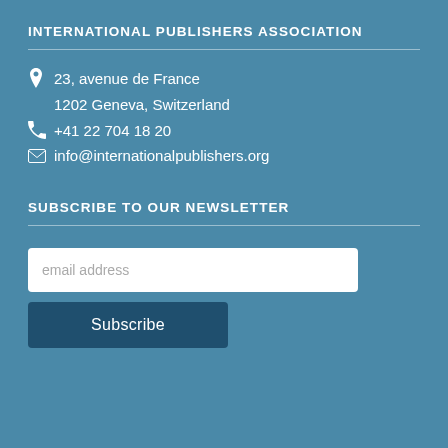INTERNATIONAL PUBLISHERS ASSOCIATION
23, avenue de France
1202 Geneva, Switzerland
+41 22 704 18 20
info@internationalpublishers.org
SUBSCRIBE TO OUR NEWSLETTER
email address
Subscribe